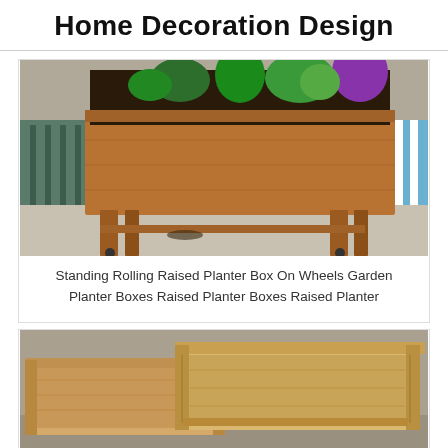Home Decoration Design
[Figure (photo): A raised wooden planter box on legs with wheels, filled with dark soil and plants including herbs and flowers, sitting on a concrete balcony with metal railings and blue striped chairs in background.]
Standing Rolling Raised Planter Box On Wheels Garden Planter Boxes Raised Planter Boxes Raised Planter
[Figure (photo): Two light-colored cedar wooden raised planter boxes stacked/nested together on a concrete surface, showing natural wood grain and corner joinery construction.]